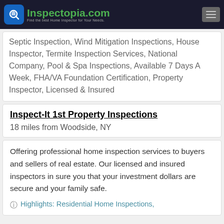Inspectopia.com — Find the best Home Inspector for Your Needs.
Septic Inspection, Wind Mitigation Inspections, House Inspector, Termite Inspection Services, National Company, Pool & Spa Inspections, Available 7 Days A Week, FHA/VA Foundation Certification, Property Inspector, Licensed & Insured
Inspect-It 1st Property Inspections
18 miles from Woodside, NY
Offering professional home inspection services to buyers and sellers of real estate. Our licensed and insured inspectors in sure you that your investment dollars are secure and your family safe.
Highlights: Residential Home Inspections,